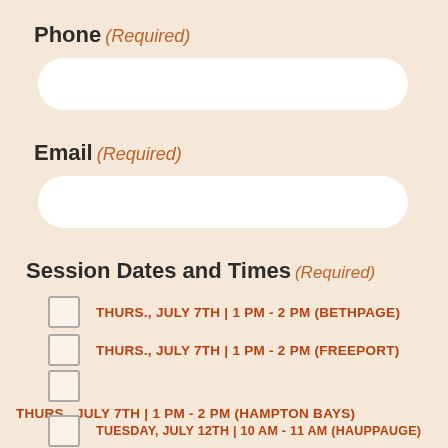Phone (Required)
[Phone input field]
Email (Required)
[Email input field]
Session Dates and Times (Required)
THURS., JULY 7TH | 1 PM - 2 PM (BETHPAGE)
THURS., JULY 7TH | 1 PM - 2 PM (FREEPORT)
THURS., JULY 7TH | 1 PM - 2 PM (HAMPTON BAYS)
TUESDAY, JULY 12TH | 10 AM - 11 AM (HAUPPAUGE)